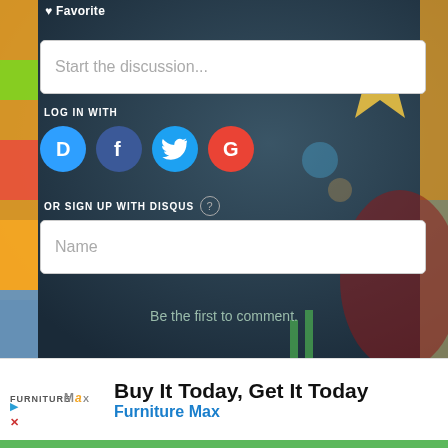Favorite
Start the discussion...
LOG IN WITH
[Figure (other): Social login icons: Disqus (blue D), Facebook (dark blue f), Twitter (light blue bird), Google (red G)]
OR SIGN UP WITH DISQUS ?
Name
Be the first to comment.
[Figure (other): Furniture Max advertisement logo with yellow and grey text]
Buy It Today, Get It Today
Furniture Max